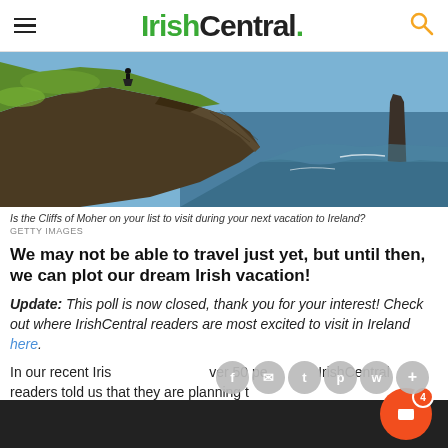IrishCentral.
[Figure (photo): Aerial/panoramic view of the Cliffs of Moher in Ireland, showing dramatic rocky cliffs dropping to the ocean with a sea stack in the distance. A person stands on the cliff edge looking out.]
Is the Cliffs of Moher on your list to visit during your next vacation to Ireland?
GETTY IMAGES
We may not be able to travel just yet, but until then, we can plot our dream Irish vacation!
Update: This poll is now closed, thank you for your interest! Check out where IrishCentral readers are most excited to visit in Ireland here.
In our recent Irish Central poll, over 50 percent of IrishCentral readers told us that they are planning t...